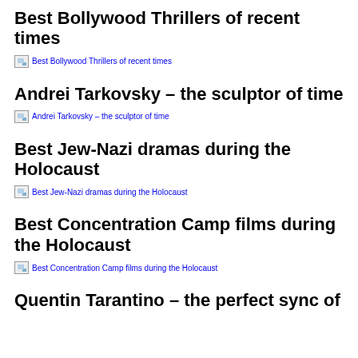Best Bollywood Thrillers of recent times
[Figure (other): Broken image placeholder for Best Bollywood Thrillers of recent times]
Andrei Tarkovsky – the sculptor of time
[Figure (other): Broken image placeholder for Andrei Tarkovsky – the sculptor of time]
Best Jew-Nazi dramas during the Holocaust
[Figure (other): Broken image placeholder for Best Jew-Nazi dramas during the Holocaust]
Best Concentration Camp films during the Holocaust
[Figure (other): Broken image placeholder for Best Concentration Camp films during the Holocaust]
Quentin Tarantino – the perfect sync of